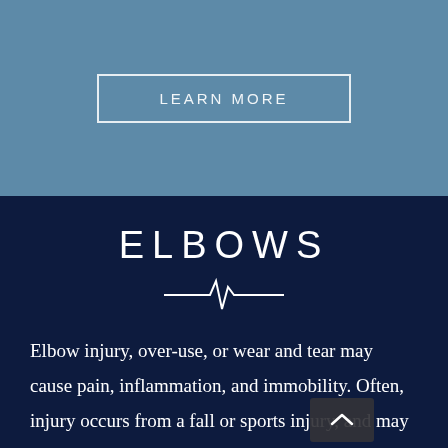[Figure (other): LEARN MORE button with white border on steel blue background]
ELBOWS
[Figure (other): Heartbeat / EKG line icon in white on dark navy background]
Elbow injury, over-use, or wear and tear may cause pain, inflammation, and immobility. Often, injury occurs from a fall or sports injury, and may involve muscle strains, contusions, fractures, or